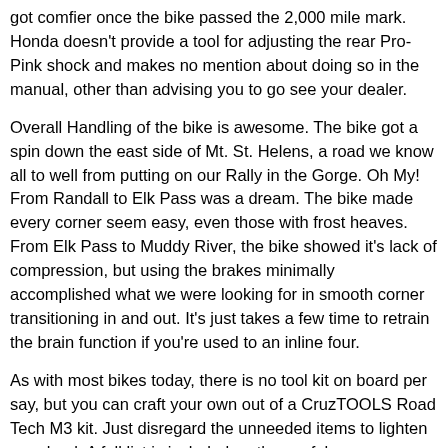got comfier once the bike passed the 2,000 mile mark. Honda doesn't provide a tool for adjusting the rear Pro-Pink shock and makes no mention about doing so in the manual, other than advising you to go see your dealer.
Overall Handling of the bike is awesome. The bike got a spin down the east side of Mt. St. Helens, a road we know all to well from putting on our Rally in the Gorge. Oh My! From Randall to Elk Pass was a dream. The bike made every corner seem easy, even those with frost heaves. From Elk Pass to Muddy River, the bike showed it's lack of compression, but using the brakes minimally accomplished what we were looking for in smooth corner transitioning in and out. It's just takes a few time to retrain the brain function if you're used to an inline four.
As with most bikes today, there is no tool kit on board per say, but you can craft your own out of a CruzTOOLS Road Tech M3 kit. Just disregard the unneeded items to lighten your load. A full list is included on the useful NX700X/NC700S forum online (www.nc700-forum.com).
The look and overall design of the bike is almost futuristic. You're not getting has-been technology or old school lines